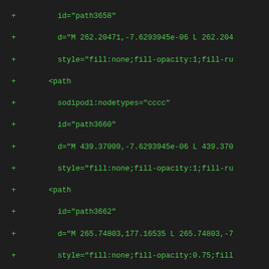Diff/code view showing SVG path XML additions with green + markers and green monospace code
+     id="path3658"
+     d="M 262.20471,-7.6293945e-06 L 262.204
+     style="fill:none;fill-opacity:1;fill-ru
+   <path
+     sodipodi:nodetypes="cccc"
+     id="path3660"
+     d="M 439.37009,-7.6293945e-06 L 439.370
+     style="fill:none;fill-opacity:1;fill-ru
+   <path
+     id="path3662"
+     d="M 265.74803,177.16535 L 265.74803,-7
+     style="fill:none;fill-opacity:0.75;fill
+   <path
+     id="path3664"
+     d="M 442.91339,-7.578125e-06 L 442.9133
+     style="fill:none;fill-opacity:0.75;fill
+   <path
+     id="path3666"
+     d="M 620.07874,-7.578125e-06 L 620.0787
+     style="fill:none;fill-opacity:0.75;fill
+   <path
+     id="path3668"
+     d="M 797.24409,177.16535 L 797.24409,-7
+     style="fill:none;fill-opacity:0.75;fill
+   <path
+     id="path3670"
+     d="M 177.16535,-7.578125e-06 L 177.1653
+     style="fill:none;fill-opacity:0.75;fill
+   <path
+     id="path3672"